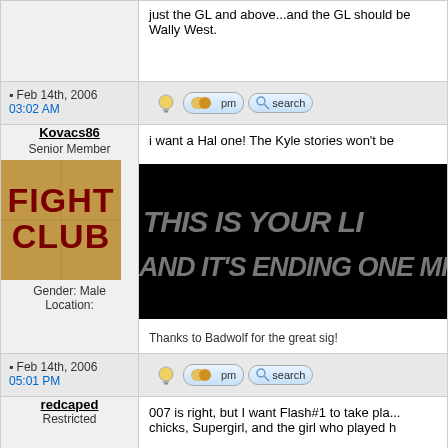just the GL and above...and the GL should be Wally West.
Feb 14th, 2006 03:02 AM
Kovacs86
Senior Member
Gender: Male
Location:
i want a Hal one! The Kyle stories won't be
[Figure (illustration): Fight Club movie poster style image with dark red text on aged brown/tan background]
[Figure (screenshot): Black banner with italic text reading THIS IS YOUR LI... AND IT'S ENDING ONE MIN...]
Thanks to Badwolf for the great sig!
Feb 14th, 2006 05:01 PM
redcaped
Restricted
007 is right, but I want Flash#1 to take pla... chicks, Supergirl, and the girl who played h